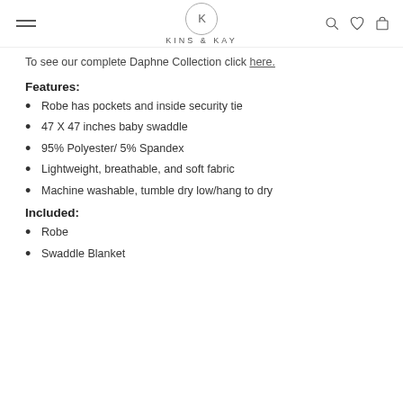KINS & KAY
To see our complete Daphne Collection click here.
Features:
Robe has pockets and inside security tie
47 X 47 inches baby swaddle
95% Polyester/ 5% Spandex
Lightweight, breathable, and soft fabric
Machine washable, tumble dry low/hang to dry
Included:
Robe
Swaddle Blanket